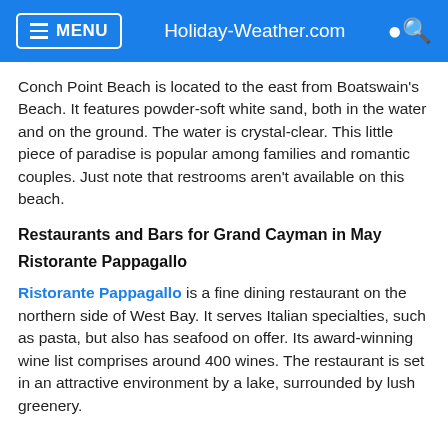MENU | Holiday-Weather.com
Conch Point Beach is located to the east from Boatswain's Beach. It features powder-soft white sand, both in the water and on the ground. The water is crystal-clear. This little piece of paradise is popular among families and romantic couples. Just note that restrooms aren't available on this beach.
Restaurants and Bars for Grand Cayman in May
Ristorante Pappagallo
Ristorante Pappagallo is a fine dining restaurant on the northern side of West Bay. It serves Italian specialties, such as pasta, but also has seafood on offer. Its award-winning wine list comprises around 400 wines. The restaurant is set in an attractive environment by a lake, surrounded by lush greenery.